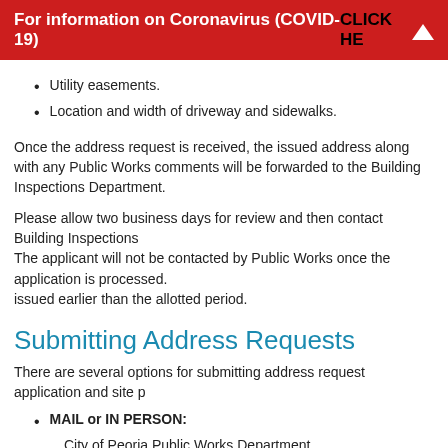For information on Coronavirus (COVID-19) CLICK HERE
Utility easements.
Location and width of driveway and sidewalks.
Once the address request is received, the issued address along with any Public Works comments will be forwarded to the Building Inspections Department.
Please allow two business days for review and then contact Building Inspections to verify address assignment. The applicant will not be contacted by Public Works once the application is processed. An address may be issued earlier than the allotted period.
Submitting Address Requests
There are several options for submitting address request application and site p
MAIL or IN PERSON:
City of Peoria Public Works Department
Permits Division: Address Request
3505 N. Dries Lane
Peoria, Illinois 61604
FAX:
(309)494-8855
EMAIL: